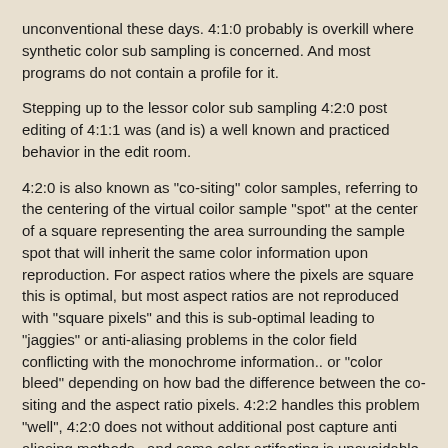unconventional these days. 4:1:0 probably is overkill where synthetic color sub sampling is concerned. And most programs do not contain a profile for it.
Stepping up to the lessor color sub sampling 4:2:0 post editing of 4:1:1 was (and is) a well known and practiced behavior in the edit room.
4:2:0 is also known as "co-siting" color samples, referring to the centering of the virtual coilor sample "spot" at the center of a square representing the area surrounding the sample spot that will inherit the same color information upon reproduction. For aspect ratios where the pixels are square this is optimal, but most aspect ratios are not reproduced with "square pixels" and this is sub-optimal leading to "jaggies" or anti-aliasing problems in the color field conflicting with the monochrome information.. or "color bleed" depending on how bad the difference between the co-siting and the aspect ratio pixels. 4:2:2 handles this problem "well", 4:2:0 does not without additional post capture anti aliasing methods.. and some color artifacting is unavoidable.